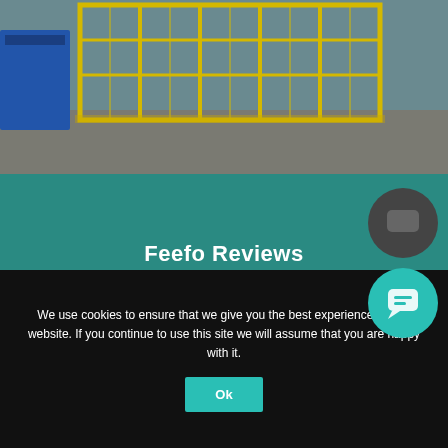[Figure (photo): Photo of a yellow metal cage/fence structure on a concrete industrial floor, with blue containers visible on the left side.]
Feefo Reviews
We use cookies to ensure that we give you the best experience on our website. If you continue to use this site we will assume that you are happy with it.